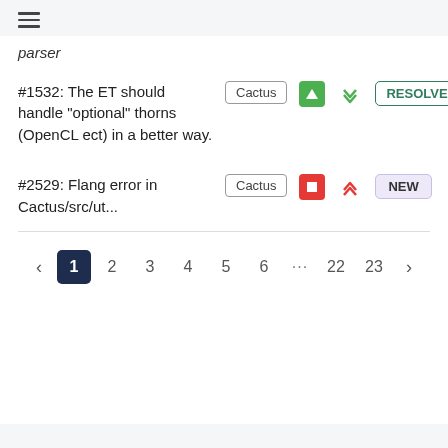[Figure (other): Hamburger menu icon (three horizontal lines)]
parser
#1532: The ET should handle "optional" thorns (OpenCL ect) in a better way. | Cactus | [up arrow green] | [down chevron green] | RESOLVED
#2529: Flang error in Cactus/src/ut... | Cactus | [stop icon red] | [up chevron red] | NEW
Pagination: < 1 2 3 4 5 6 ... 22 23 >